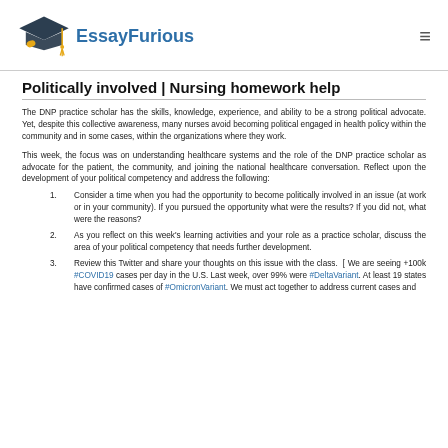EssayFurious
Politically involved | Nursing homework help
The DNP practice scholar has the skills, knowledge, experience, and ability to be a strong political advocate. Yet, despite this collective awareness, many nurses avoid becoming political engaged in health policy within the community and in some cases, within the organizations where they work.
This week, the focus was on understanding healthcare systems and the role of the DNP practice scholar as advocate for the patient, the community, and joining the national healthcare conversation. Reflect upon the development of your political competency and address the following:
Consider a time when you had the opportunity to become politically involved in an issue (at work or in your community). If you pursued the opportunity what were the results? If you did not, what were the reasons?
As you reflect on this week’s learning activities and your role as a practice scholar, discuss the area of your political competency that needs further development.
Review this Twitter and share your thoughts on this issue with the class.  [ We are seeing +100k #COVID19 cases per day in the U.S. Last week, over 99% were #DeltaVariant. At least 19 states have confirmed cases of #OmicronVariant. We must act together to address current cases and